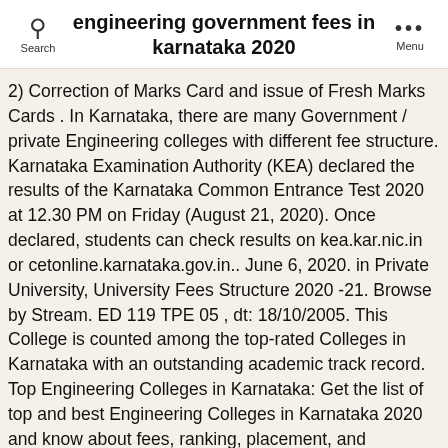engineering government fees in karnataka 2020
2) Correction of Marks Card and issue of Fresh Marks Cards . In Karnataka, there are many Government / private Engineering colleges with different fee structure. Karnataka Examination Authority (KEA) declared the results of the Karnataka Common Entrance Test 2020 at 12.30 PM on Friday (August 21, 2020). Once declared, students can check results on kea.kar.nic.in or cetonline.karnataka.gov.in.. June 6, 2020. in Private University, University Fees Structure 2020 -21. Browse by Stream. ED 119 TPE 05 , dt: 18/10/2005. This College is counted among the top-rated Colleges in Karnataka with an outstanding academic track record. Top Engineering Colleges in Karnataka: Get the list of top and best Engineering Colleges in Karnataka 2020 and know about fees, ranking, placement, and admission. Check the college admission criteria, courses, cut-off, fees, placement, ranking, reviews, articles and news. Top